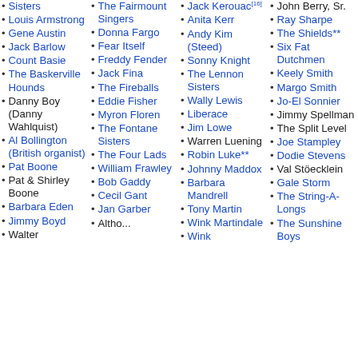Sisters
Louis Armstrong
Gene Austin
Jack Barlow
Count Basie
The Baskerville Hounds
Danny Boy (Danny Wahlquist)
Al Bollington (British organist)
Pat Boone
Pat & Shirley Boone
Barbara Eden
Jimmy Boyd
Walter
The Fairmount Singers
Donna Fargo
Fear Itself
Freddy Fender
Jack Fina
The Fireballs
Eddie Fisher
Myron Floren
The Fontane Sisters
The Four Lads
William Frawley
Bob Gaddy
Cecil Gant
Jan Garber
Altho...
Jack Kerouac[16]
Anita Kerr
Andy Kim (Steed)
Sonny Knight
The Lennon Sisters
Wally Lewis
Liberace
Jim Lowe
Warren Luening
Robin Luke**
Johnny Maddox
Barbara Mandrell
Tony Martin
Wink Martindale
Wink
John Berry, Sr.
Ray Sharpe
The Shields**
Six Fat Dutchmen
Keely Smith
Margo Smith
Jo-El Sonnier
Jimmy Spellman
The Split Level
Joe Stampley
Dodie Stevens
Val Stöecklein
Gale Storm
The String-A-Longs
The Sunshine Boys